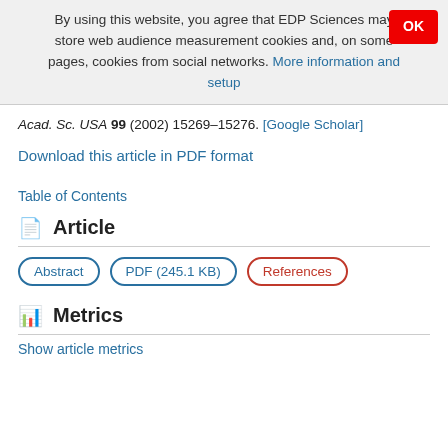By using this website, you agree that EDP Sciences may store web audience measurement cookies and, on some pages, cookies from social networks. More information and setup
Acad. Sc. USA 99 (2002) 15269–15276. [Google Scholar]
Download this article in PDF format
Table of Contents
Article
Abstract | PDF (245.1 KB) | References
Metrics
Show article metrics